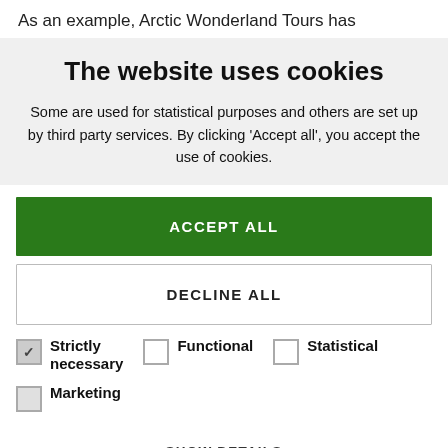As an example, Arctic Wonderland Tours has
The website uses cookies
Some are used for statistical purposes and others are set up by third party services. By clicking 'Accept all', you accept the use of cookies.
ACCEPT ALL
DECLINE ALL
Strictly necessary
Functional
Statistical
Marketing
SHOW DETAILS